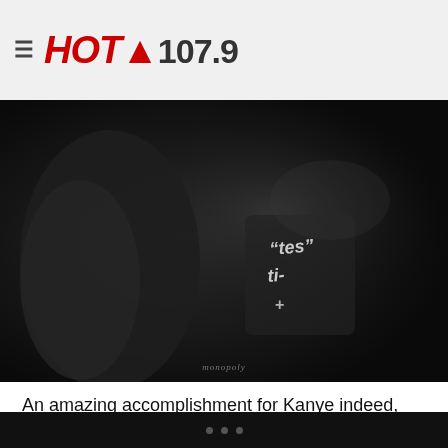≡ HOT 107.9
[Figure (photo): Black and white photo of a dark jacket/clothing item with embroidered text/logo, Instagram/blog style photo with watermark 'monopoly' at bottom]
An amazing accomplishment for Kanye indeed, but Nike will be just fine in the long run. The move does prove the Kanye has tremendous selling power and we can only expect bigger and better things from this partnership. Maybe now everyone can get their hands on a pair of Yeezy's.